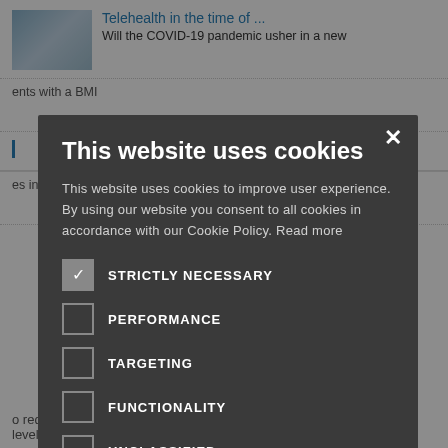[Figure (screenshot): Background website showing article thumbnails about telehealth and COVID-19]
Telehealth in the time of ...
Will the COVID-19 pandemic usher in a new
ents with a BMI
es in primary
o reduce the level of childhood ...
This website uses cookies
This website uses cookies to improve user experience. By using our website you consent to all cookies in accordance with our Cookie Policy. Read more
STRICTLY NECESSARY
PERFORMANCE
TARGETING
FUNCTIONALITY
UNCLASSIFIED
ACCEPT ALL
DECLINE ALL
SHOW DETAILS